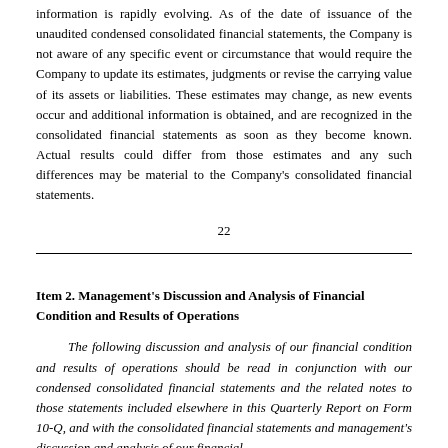information is rapidly evolving. As of the date of issuance of the unaudited condensed consolidated financial statements, the Company is not aware of any specific event or circumstance that would require the Company to update its estimates, judgments or revise the carrying value of its assets or liabilities. These estimates may change, as new events occur and additional information is obtained, and are recognized in the consolidated financial statements as soon as they become known. Actual results could differ from those estimates and any such differences may be material to the Company's consolidated financial statements.
22
Item 2. Management's Discussion and Analysis of Financial Condition and Results of Operations
The following discussion and analysis of our financial condition and results of operations should be read in conjunction with our condensed consolidated financial statements and the related notes to those statements included elsewhere in this Quarterly Report on Form 10-Q, and with the consolidated financial statements and management's discussion and analysis of our financial